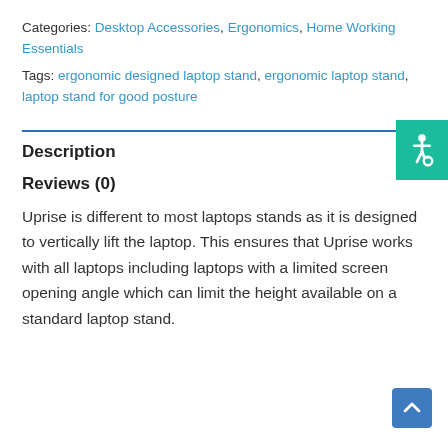Categories: Desktop Accessories, Ergonomics, Home Working Essentials
Tags: ergonomic designed laptop stand, ergonomic laptop stand, laptop stand for good posture
[Figure (other): Accessibility icon button (wheelchair symbol) on green background]
Description
Reviews (0)
Uprise is different to most laptops stands as it is designed to vertically lift the laptop. This ensures that Uprise works with all laptops including laptops with a limited screen opening angle which can limit the height available on a standard laptop stand.
[Figure (other): Scroll to top button with upward chevron arrow on blue background]